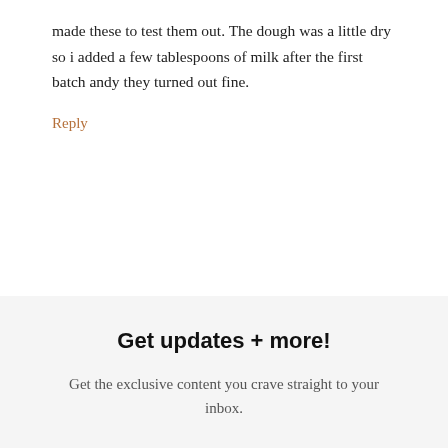made these to test them out. The dough was a little dry so i added a few tablespoons of milk after the first batch andy they turned out fine.
Reply
Get updates + more!
Get the exclusive content you crave straight to your inbox.